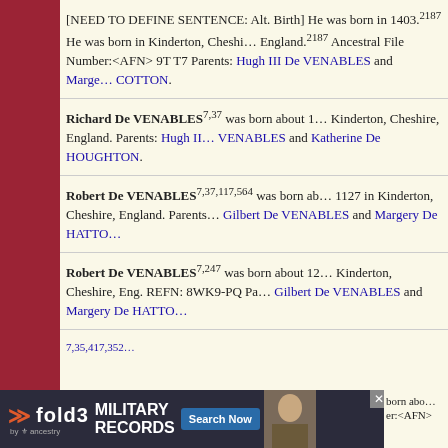[NEED TO DEFINE SENTENCE: Alt. Birth] He in 1403.2187 He was born in Kinderton, Cheshire, England.2187 Ancestral File Number:<AFN> 9T7 Parents: Hugh III De VENABLES and Margery De COTTON.
Richard De VENABLES7,37 was born about 13... Kinderton, Cheshire, England. Parents: Hugh II De VENABLES and Katherine De HOUGHTON.
Robert De VENABLES7,37,117,564 was born about 1127 in Kinderton, Cheshire, England. Parents: Gilbert De VENABLES and Margery De HATTON.
Robert De VENABLES7,247 was born about 12... Kinderton, Cheshire, Eng. REFN: 8WK9-PQ Parents: Gilbert De VENABLES and Margery De HATTON.
[Figure (screenshot): fold3 by ancestry military records advertisement banner with Search Now button and soldier photo]